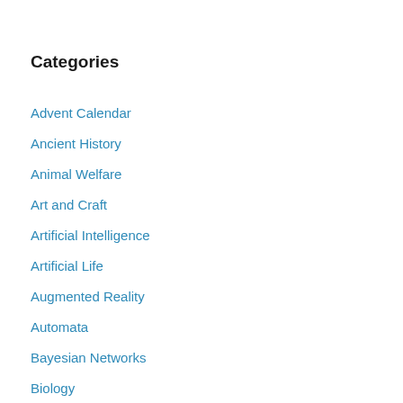Categories
Advent Calendar
Ancient History
Animal Welfare
Art and Craft
Artificial Intelligence
Artificial Life
Augmented Reality
Automata
Bayesian Networks
Biology
Brain-computer interfaces